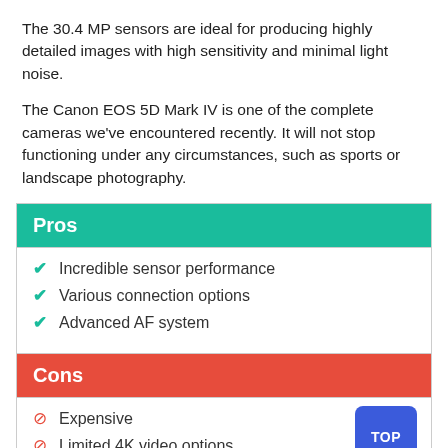The 30.4 MP sensors are ideal for producing highly detailed images with high sensitivity and minimal light noise.
The Canon EOS 5D Mark IV is one of the complete cameras we've encountered recently. It will not stop functioning under any circumstances, such as sports or landscape photography.
Pros
Incredible sensor performance
Various connection options
Advanced AF system
Cons
Expensive
Limited 4K video options